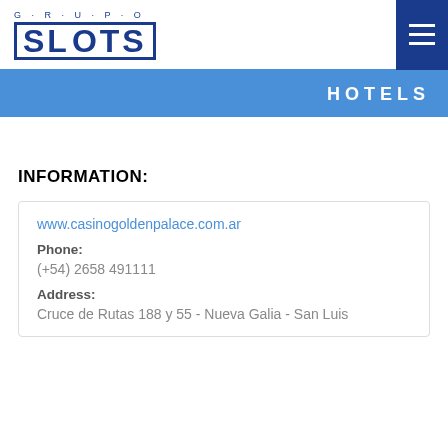GRUPO SLOTS
HOTELS
INFORMATION:
www.casinogoldenpalace.com.ar
Phone:
(+54) 2658 491111
Address:
Cruce de Rutas 188 y 55 - Nueva Galia - San Luis